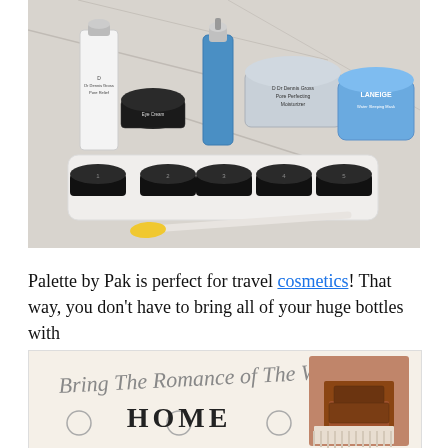[Figure (photo): Photo of skincare products arranged on a white tray on a marble surface: Dr Dennis Gross Pore Perfect serum bottle, small black lid jars numbered 1-5, Dr Dennis Gross concentrated eye cream jar, blue dropper bottle serum, Dr Dennis Gross Pore Perfecting Moisturizer, Laneige Water Sleeping Mask blue jar, and a small yellow brush. Numbered black puck containers in a row at the front.]
Palette by Pak is perfect for travel cosmetics! That way, you don't have to bring all of your huge bottles with
[Figure (photo): Advertisement image with cursive text 'Bring The Romance of The West HOME' with decorative circles and a layered cake image on the right side.]